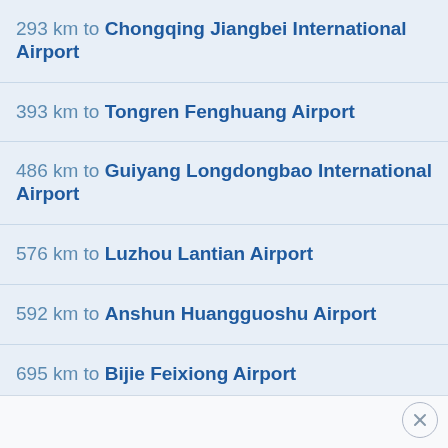293 km to Chongqing Jiangbei International Airport
393 km to Tongren Fenghuang Airport
486 km to Guiyang Longdongbao International Airport
576 km to Luzhou Lantian Airport
592 km to Anshun Huangguoshu Airport
695 km to Bijie Feixiong Airport